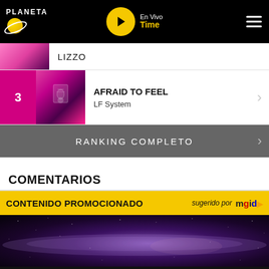PLANETA | En Vivo Time
LIZZO
3 AFRAID TO FEEL - LF System
RANKING COMPLETO
COMENTARIOS
CONTENIDO PROMOCIONADO sugerido por mgid
[Figure (photo): Galaxy/space background image]
Escúchanos en vivo